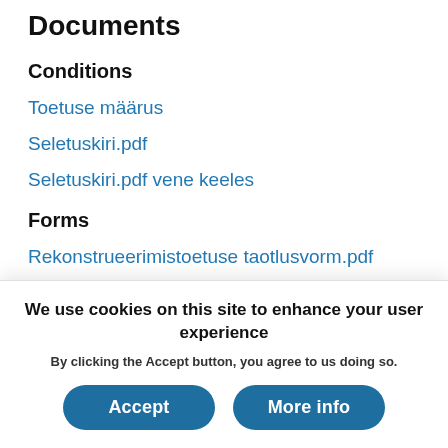Documents
Conditions
Toetuse määrus
Seletuskiri.pdf
Seletuskiri.pdf vene keeles
Forms
Rekonstrueerimistoetuse taotlusvorm.pdf
We use cookies on this site to enhance your user experience
By clicking the Accept button, you agree to us doing so.